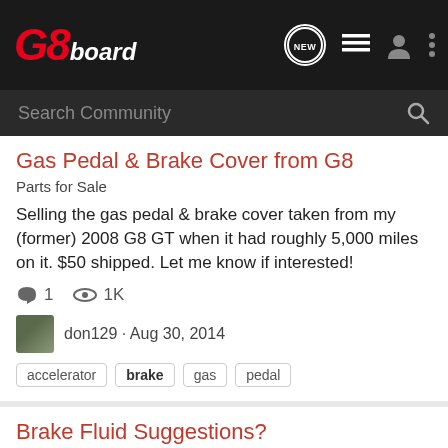G8board
Search Community
Gas Pedal & Brake Cover from G8
Parts for Sale
Selling the gas pedal & brake cover taken from my (former) 2008 G8 GT when it had roughly 5,000 miles on it. $50 shipped. Let me know if interested!
1  1K
don129 · Aug 30, 2014
accelerator
brake
gas
pedal
Brake Fluid Suggestions?
Suspension / Brakes
Hey all - Going to do my brakes soon, thought I'd get some suggestions on brake fluid to use. I don't have anything fancy